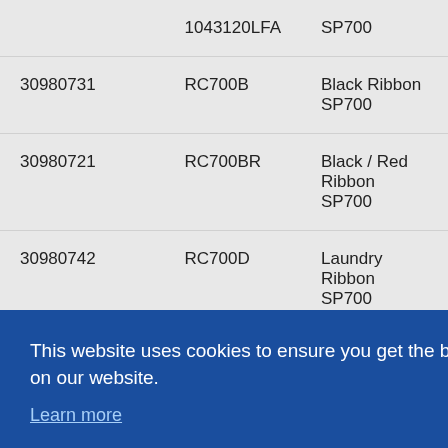| Part Number | Model | Description |
| --- | --- | --- |
|  | 1043120LFA | SP700 |
| 30980731 | RC700B | Black Ribbon SP700 |
| 30980721 | RC700BR | Black / Red Ribbon SP700 |
| 30980742 | RC700D | Laundry Ribbon SP700 |
Interfaces
|  |  | n HI X ... ect ... gent ... ace with |
|  |  | PRNT car |
| 39807120 | IPBD-HD04 D | PRNT Plug-In Serial |
This website uses cookies to ensure you get the best experience on our website. Learn more
Accept